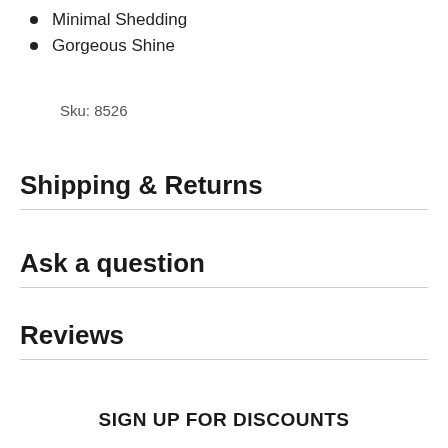Minimal Shedding
Gorgeous Shine
Sku: 8526
Shipping & Returns
Ask a question
Reviews
SIGN UP FOR DISCOUNTS